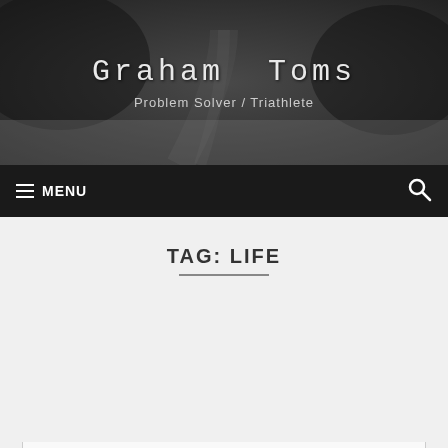Graham Toms
Problem Solver / Triathlete
MENU
TAG: LIFE
Privacy & Cookies: This site uses cookies. By continuing to use this website, you agree to their use.
To find out more, including how to control cookies, see here: Cookie Policy
Close and accept